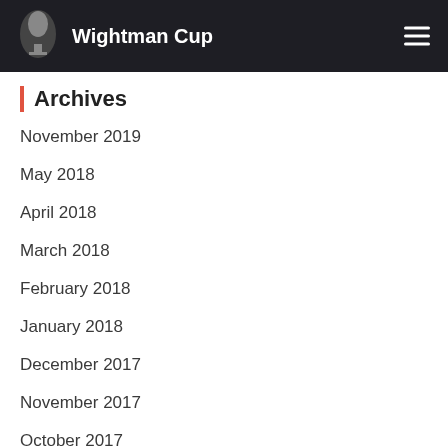Wightman Cup
Archives
November 2019
May 2018
April 2018
March 2018
February 2018
January 2018
December 2017
November 2017
October 2017
September 2017